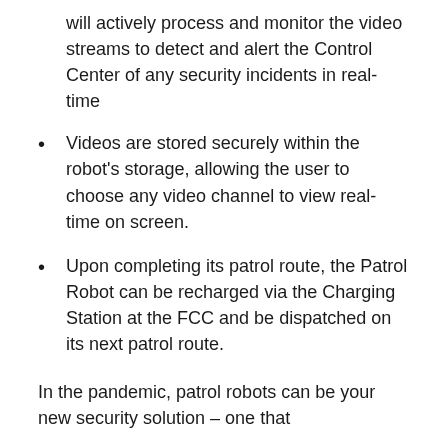will actively process and monitor the video streams to detect and alert the Control Center of any security incidents in real-time
Videos are stored securely within the robot's storage, allowing the user to choose any video channel to view real-time on screen.
Upon completing its patrol route, the Patrol Robot can be recharged via the Charging Station at the FCC and be dispatched on its next patrol route.
In the pandemic, patrol robots can be your new security solution - one that